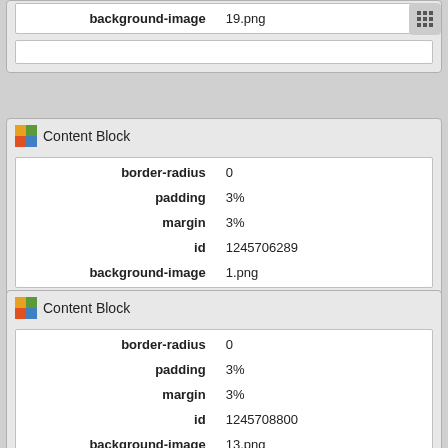| property | value |
| --- | --- |
| background-image | 19.png |
| property | value |
| --- | --- |
| border-radius | 0 |
| padding | 3% |
| margin | 3% |
| id | 1245706289 |
| background-image | 1.png |
Content Block
| property | value |
| --- | --- |
| border-radius | 0 |
| padding | 3% |
| margin | 3% |
| id | 1245708800 |
| background-image | 13.png |
Content Block